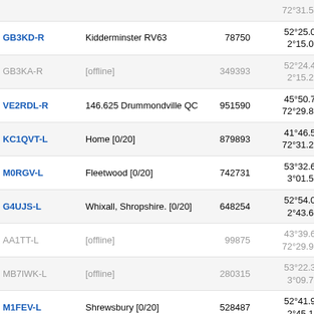| Callsign | Description | ID | Coordinates | Grid | Freq |
| --- | --- | --- | --- | --- | --- |
| GB3KD-R | Kidderminster RV63 | 78750 | 52°25.00' N 2°15.00' W | IO82vk | 10513 |
| GB3KA-R | [offline] | 349393 | 52°24.40' N 2°15.23' W | IO82uj | 10513 |
| VE2RDL-R | 146.625 Drummondville QC | 951590 | 45°50.73' N 72°29.81' W | FN35su | 10514 |
| KC1QVT-L | Home [0/20] | 879893 | 41°46.56' N 72°31.29' W | FN31rs | 10516 |
| M0RGV-L | Fleetwood [0/20] | 742731 | 53°32.68' N 3°01.53' W | IO83ln | 10516 |
| G4UJS-L | Whixall, Shropshire. [0/20] | 648254 | 52°54.07' N 2°43.62' W | IO82pv | 10520 |
| AA1TT-L | [offline] | 99875 | 43°39.69' N 72°29.98' W | FN33sp | 10522 |
| MB7IWK-L | [offline] | 280315 | 53°22.36' N 3°09.73' W | IO83ki | 10526 |
| M1FEV-L | Shrewsbury [0/20] | 528487 | 52°41.91' N 2°45.10' W | IO82oq | 10526 |
| W1DX-R | SALEM, CONNECTICUT | 342027 | 41°27.77' N 72°14.75' W | FN31vl | 10529 |
| EA2BKH-L | [offline] | 40491 | 41°24.00' N 0°31.80' W | IN91rj | 10530 |
| WX1NH-R | GMARS Analog System [0/20] | 725056 | 43°23.57' N 72°18.22' W | FN33uj | 10530 |
| GB3PB-R | Poole, UK [0/20] | 284050 | 50°43.20' N 1°56.40' W | IO90ar | 10534 |